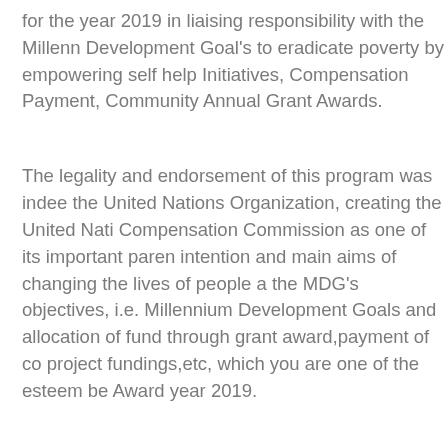for the year 2019 in liaising responsibility with the Millennium Development Goal's to eradicate poverty by empowering self help Initiatives, Compensation Payment, Community Annual Grant Awards.
The legality and endorsement of this program was indeed the United Nations Organization, creating the United Nations Compensation Commission as one of its important parent intention and main aims of changing the lives of people as the MDG's objectives, i.e. Millennium Development Goals and allocation of fund through grant award,payment of co project fundings,etc, which you are one of the esteem ben Award year 2019.
The rationale which purported your nomination to benefit legitimate, certified and has legal backing and justification diversity our status you as an even as above with